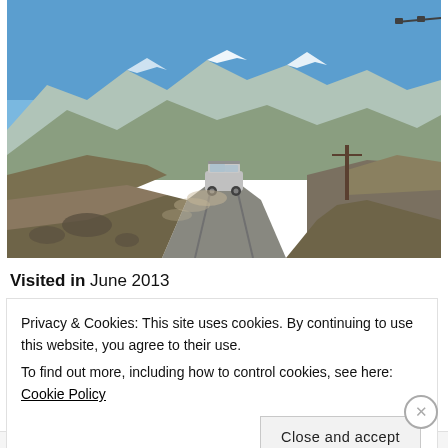[Figure (photo): A 4WD vehicle driving on a gravel road through a high-altitude mountain landscape with snow-capped peaks and clear blue sky. Dust trail behind vehicle. Arid, rocky terrain on either side of the road.]
Visited in June 2013
Privacy & Cookies: This site uses cookies. By continuing to use this website, you agree to their use.
To find out more, including how to control cookies, see here: Cookie Policy
WORDPRESS.COM